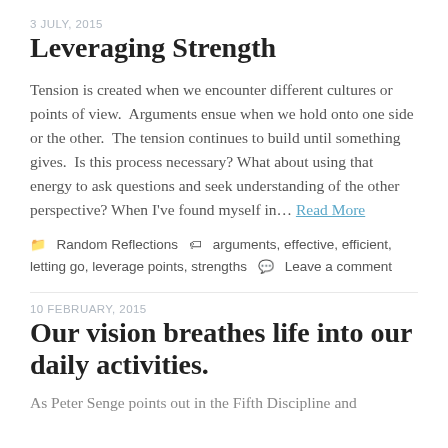3 JULY, 2015
Leveraging Strength
Tension is created when we encounter different cultures or points of view.  Arguments ensue when we hold onto one side or the other.  The tension continues to build until something gives.  Is this process necessary? What about using that energy to ask questions and seek understanding of the other perspective? When I've found myself in… Read More
Random Reflections  arguments, effective, efficient, letting go, leverage points, strengths  Leave a comment
10 FEBRUARY, 2015
Our vision breathes life into our daily activities.
As Peter Senge points out in the Fifth Discipline and...